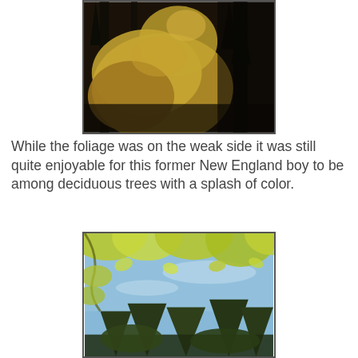[Figure (photo): Autumn foliage photo showing golden/yellow deciduous trees among dark evergreen conifers, viewed from below with dark tones.]
While the foliage was on the weak side it was still quite enjoyable for this former New England boy to be among deciduous trees with a splash of color.
[Figure (photo): Photo looking upward into tree canopy showing yellow-green autumn leaves against a blue sky, with taller dark conifers visible below.]